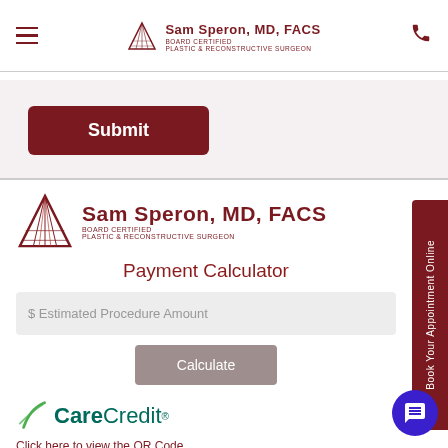Sam Speron, MD, FACS — BOARD CERTIFIED PLASTIC & RECONSTRUCTIVE SURGEON
Submit
[Figure (logo): Sam Speron MD FACS logo with triangle graphic — BOARD CERTIFIED PLASTIC & RECONSTRUCTIVE SURGEON]
Payment Calculator
$ Estimated Procedure Amount
Calculate
[Figure (logo): CareCredit logo with green leaf icon]
Click here to view the QR Code
Book Your Appointment Online